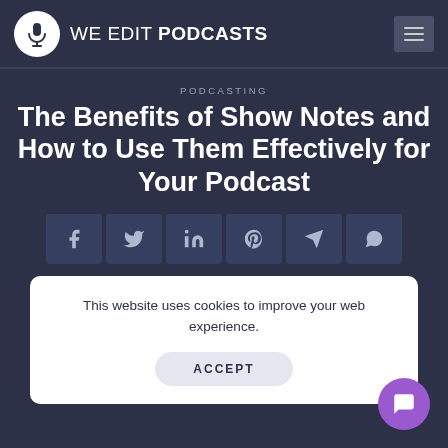WE EDIT PODCASTS
PODCASTING
The Benefits of Show Notes and How to Use Them Effectively for Your Podcast
[Figure (infographic): Social share icons row: Facebook, Twitter, LinkedIn, Pinterest, Telegram, WhatsApp]
This website uses cookies to improve your web experience.
ACCEPT